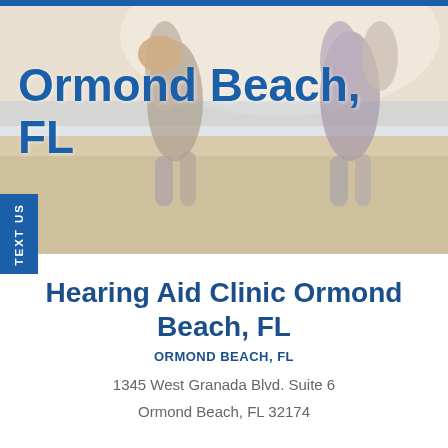[Figure (photo): Photo of a happy family (two couples) running and playing on a beach, with the woman giving a man a piggyback ride and another couple nearby. Beach and ocean scenery in the background.]
Ormond Beach, FL
Hearing Aid Clinic Ormond Beach, FL
ORMOND BEACH, FL
1345 West Granada Blvd. Suite 6
Ormond Beach, FL 32174